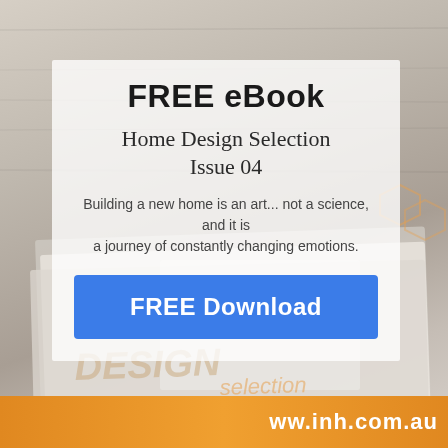[Figure (photo): Background photo of stacked home design magazines/books on a wooden surface, with magazine covers showing 'HOME DESIGN selection' text and Integrity New Homes branding]
FREE eBook
Home Design Selection
Issue 04
Building a new home is an art... not a science, and it is a journey of constantly changing emotions.
FREE Download
www.inh.com.au